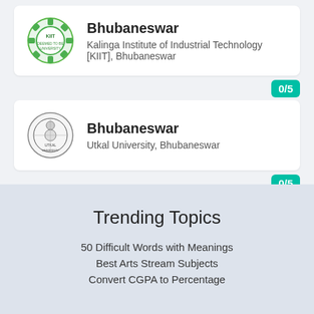[Figure (logo): KIIT university logo - green gear/cog emblem]
Bhubaneswar
Kalinga Institute of Industrial Technology [KIIT], Bhubaneswar
0/5
[Figure (logo): Utkal University logo - circular black and white emblem]
Bhubaneswar
Utkal University, Bhubaneswar
0/5
[Figure (logo): ABIT Group of Institutions logo - circular colorful emblem]
Cuttack
ABIT Group of Institutions [ABIT], Cuttack
Trending Topics
50 Difficult Words with Meanings
Best Arts Stream Subjects
Convert CGPA to Percentage